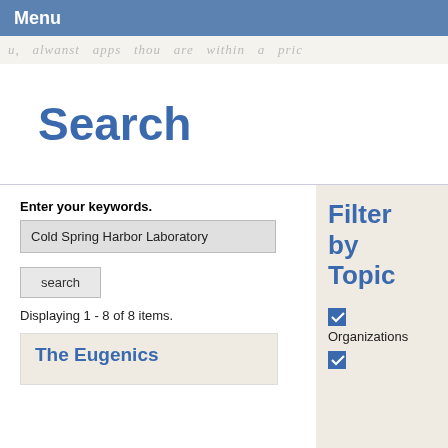Menu
[Figure (other): Handwritten script text strip in light gray/beige background]
Search
Enter your keywords.
Cold Spring Harbor Laboratory
search
Displaying 1 - 8 of 8 items.
Filter by Topic
Organizations
The Eugenics